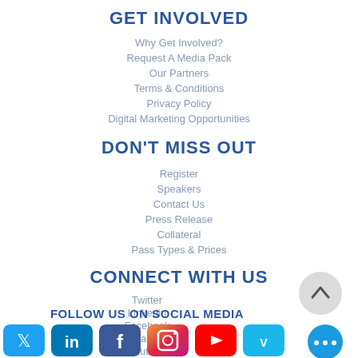GET INVOLVED
Why Get Involved?
Request A Media Pack
Our Partners
Terms & Conditions
Privacy Policy
Digital Marketing Opportunities
DON'T MISS OUT
Register
Speakers
Contact Us
Press Release
Collateral
Pass Types & Prices
CONNECT WITH US
Twitter
Linkedin
Facebook
Instagram
Youtube
Vimeo
FOLLOW US ON SOCIAL MEDIA
[Figure (infographic): Social media icons row: Twitter (blue), LinkedIn (blue), Facebook (blue), Instagram (pink/purple), YouTube (red), Vimeo (blue)]